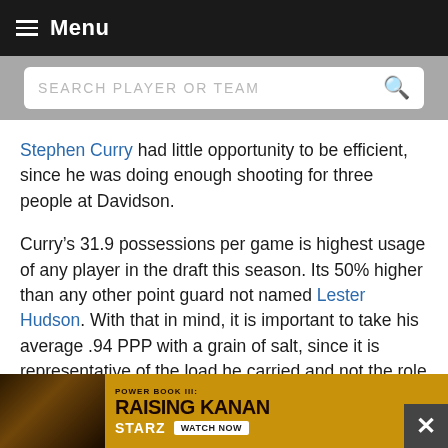Menu
SEARCH PLAYER OR TEAM
Stephen Curry had little opportunity to be efficient, since he was doing enough shooting for three people at Davidson.
Curry's 31.9 possessions per game is highest usage of any player in the draft this season. Its 50% higher than any other point guard not named Lester Hudson. With that in mind, it is important to take his average .94 PPP with a grain of salt, since it is representative of the load he carried and not the role he will play in the NBA. Curry took 5.4 catch and shoot jumpers per game, and his 1.15 PPP with a hand in his face and 1.33 PPP when left open both land him well above average. In terms of h[...] up jum[...] ook in to[...]
[Figure (infographic): Power Book III: Raising Kanan ad banner on Starz with Watch Now button]